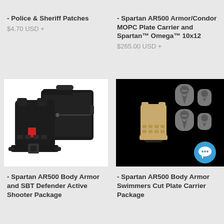- Police & Sheriff Patches
$4.70 USD +
- Spartan AR500 Armor/Condor MOPC Plate Carrier and Spartan™ Omega™ 10x12
$265.00 USD +
[Figure (photo): Black tactical body armor plate carrier with a black range bag behind it, against a white background]
- Spartan AR500 Body Armor and SBT Defender Active Shooter Package
[Figure (photo): Tan/coyote plate carrier on a mannequin with four grey Spartan-logo armor plates arranged next to it on a black background, with a blue chat bubble icon overlay]
- Spartan AR500 Body Armor Swimmers Cut Plate Carrier Package